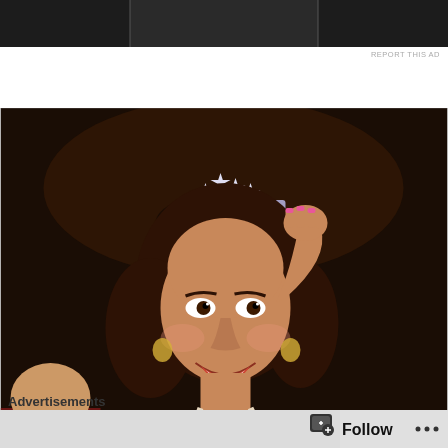[Figure (photo): Partial top cropped advertisement banner, dark background]
REPORT THIS AD
[Figure (photo): A woman wearing a Miss World sash and crown, smiling and touching her crown with one hand, wearing a blue sequined dress and holding a scepter, dark background]
O-hi-OH!!!!
Advertisements
[Figure (screenshot): Advertisement banner showing app icon and text 'The go-to app for']
[Figure (screenshot): Bottom navigation bar with Follow button and three-dots menu]